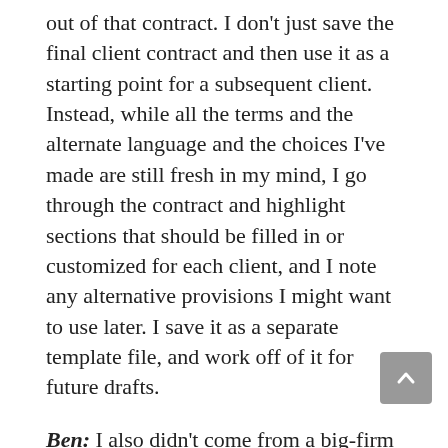out of that contract. I don't just save the final client contract and then use it as a starting point for a subsequent client. Instead, while all the terms and the alternate language and the choices I've made are still fresh in my mind, I go through the contract and highlight sections that should be filled in or customized for each client, and I note any alternative provisions I might want to use later. I save it as a separate template file, and work off of it for future drafts.
Ben: I also didn't come from a big-firm background, so I have had to build my forms library from an assortment of pieces. I have looked at forms books in the past, but most